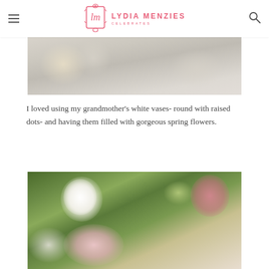Lydia Menzies Celebrates — navigation header with menu icon, logo, and search icon
[Figure (photo): Close-up photo of white flowers and soft decorative elements, partially cropped at top]
I loved using my grandmother's white vases- round with raised dots- and having them filled with gorgeous spring flowers.
[Figure (photo): Close-up photo of spring flower arrangement with white ranunculus, pink roses, and green foliage against a garden background]